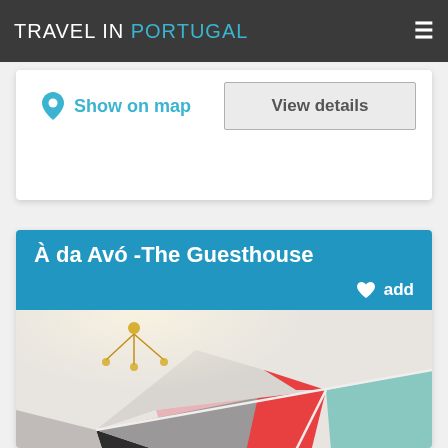TRAVEL IN PORTUGAL
Show on map
View details
À da Avó -The Guesthouse
add
[Figure (photo): Interior room with geometric colorful triangular wall mural in pink, black, grey, teal and beige colors, with a decorative chandelier visible at top]